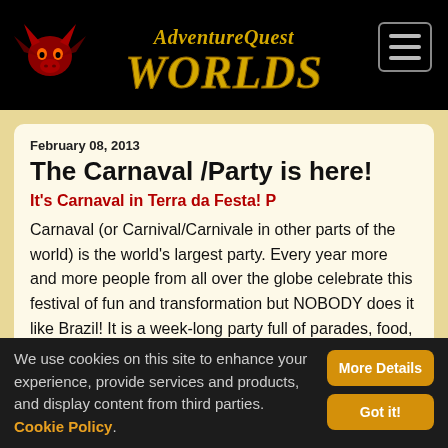AdventureQuest Worlds
February 08, 2013
The Carnaval /Party is here!
It's Carnaval in Terra da Festa! P
Carnaval (or Carnival/Carnivale in other parts of the world) is the world's largest party. Every year more and more people from all over the globe celebrate this festival of fun and transformation but NOBODY does it like Brazil! It is a week-long party full of parades, food, fun and friends where your normal life is overturned and everyone generally goes nuts, and it's finally come
We use cookies on this site to enhance your experience, provide services and products, and display content from third parties. Cookie Policy.